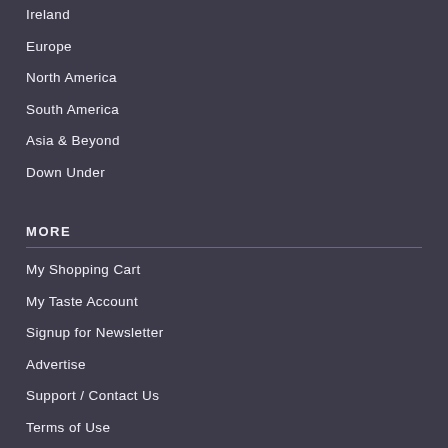Ireland
Europe
North America
South America
Asia & Beyond
Down Under
MORE
My Shopping Cart
My Taste Account
Signup for Newsletter
Advertise
Support / Contact Us
Terms of Use
Privacy Policy
Our Refund Policy